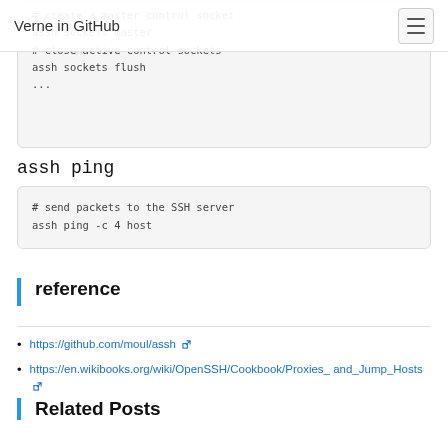Verne in GitHub
# create a master control socket
assh sockets master
# close active control sockets
assh sockets flush
...
assh ping
# send packets to the SSH server
assh ping -c 4 host
reference
https://github.com/moul/assh
https://en.wikibooks.org/wiki/OpenSSH/Cookbook/Proxies_and_Jump_Hosts
Related Posts